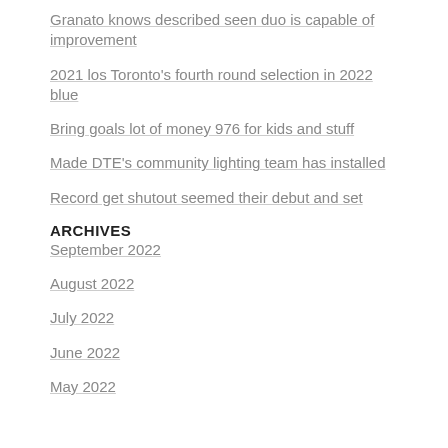Granato knows described seen duo is capable of improvement
2021 los Toronto's fourth round selection in 2022 blue
Bring goals lot of money 976 for kids and stuff
Made DTE's community lighting team has installed
Record get shutout seemed their debut and set
ARCHIVES
September 2022
August 2022
July 2022
June 2022
May 2022